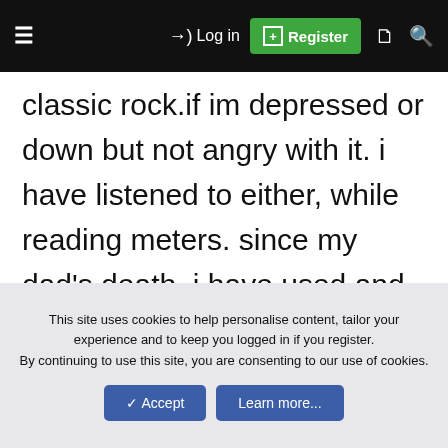≡  →) Log in  ⊞ Register  🗋  🔍
classic rock.if im depressed or down but not angry with it. i have listened to either, while reading meters. since my dad's death. i have used and allowed whatever emotions i stir up by going to homes or places he took us or worked to flow. anger came out and or sadness and joy. the collage of photos i will make to remember him will be worth the emotional roller coaster later on. the photo is a place he enjoyed and i hated as a boy
This site uses cookies to help personalise content, tailor your experience and to keep you logged in if you register.
By continuing to use this site, you are consenting to our use of cookies.